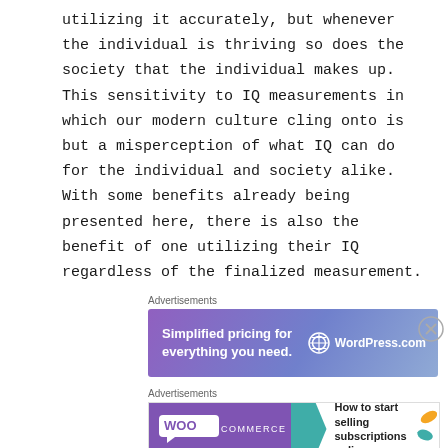utilizing it accurately, but whenever the individual is thriving so does the society that the individual makes up. This sensitivity to IQ measurements in which our modern culture cling onto is but a misperception of what IQ can do for the individual and society alike. With some benefits already being presented here, there is also the benefit of one utilizing their IQ regardless of the finalized measurement.
[Figure (other): WordPress.com advertisement banner with purple-blue gradient background, text 'Simplified pricing for everything you need.' on left and WordPress.com logo on right]
[Figure (other): WooCommerce advertisement banner with purple WooCommerce logo on left, teal arrow, and text 'How to start selling subscriptions online' on right with orange and teal leaf decorations]